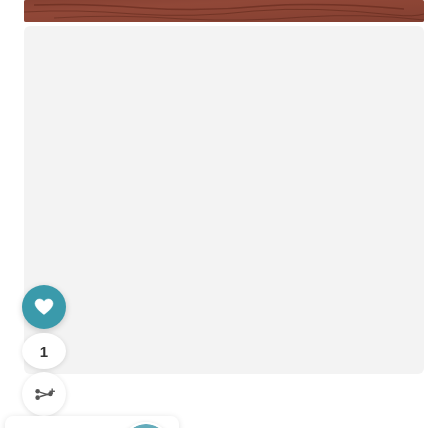[Figure (photo): Top portion of a reddish-brown rocky landscape/terrain photo, partially cropped at top of page]
[Figure (other): Heart/favorite button - teal circular button with white heart icon]
1
[Figure (other): Share button - white circular button with share icon]
WHAT'S NEXT → Coyote Gulch Permits
[Figure (photo): Thumbnail circular image of Coyote Gulch - green canyon landscape]